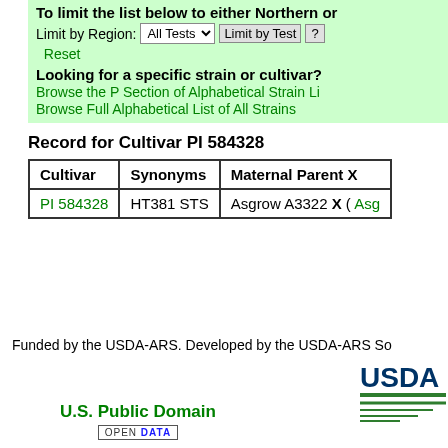To limit the list below to either Northern or...
Limit by Region: All Tests  Limit by Test  ?
Reset
Looking for a specific strain or cultivar?
Browse the P Section of Alphabetical Strain Li...
Browse Full Alphabetical List of All Strains
Record for Cultivar PI 584328
| Cultivar | Synonyms | Maternal Parent X... |
| --- | --- | --- |
| PI 584328 | HT381 STS | Asgrow A3322 X ( Asg... |
Funded by the USDA-ARS. Developed by the USDA-ARS So...
U.S. Public Domain
[Figure (logo): USDA logo with green stripes]